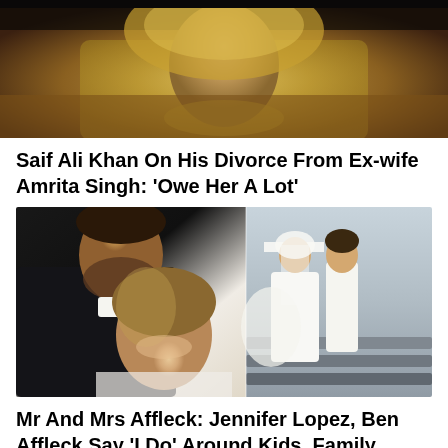[Figure (photo): Partially visible photo of a woman in traditional Indian attire with golden headscarf and jewelry, cropped at top]
Saif Ali Khan On His Divorce From Ex-wife Amrita Singh: 'Owe Her A Lot'
[Figure (photo): Left side: Ben Affleck and Jennifer Lopez posing together at an event, Ben in black suit, Jennifer smiling. Right side: A couple in white wedding attire on steps outdoors.]
Mr And Mrs Affleck: Jennifer Lopez, Ben Affleck Say 'I Do' Around Kids, Family